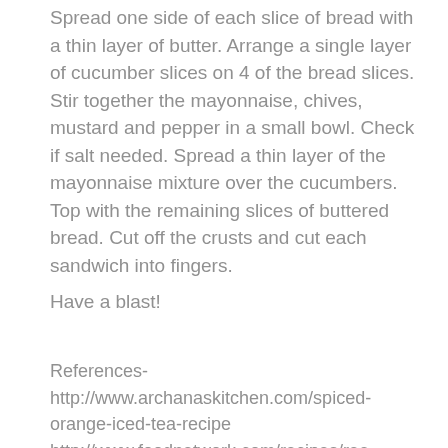Spread one side of each slice of bread with a thin layer of butter. Arrange a single layer of cucumber slices on 4 of the bread slices. Stir together the mayonnaise, chives, mustard and pepper in a small bowl. Check if salt needed. Spread a thin layer of the mayonnaise mixture over the cucumbers.  Top with the remaining slices of buttered bread. Cut off the crusts and cut each sandwich into fingers.
Have a blast!
References- http://www.archanaskitchen.com/spiced-orange-iced-tea-recipe http://www.foodnetwork.com/recipes/ree-drummond/cucumber-finger-sandwiches.html